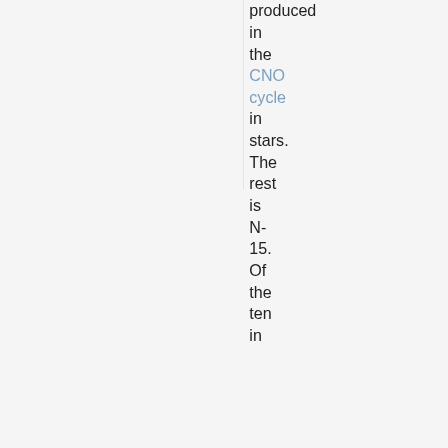produced in the CNO cycle in stars. The rest is N-15. Of the ten int